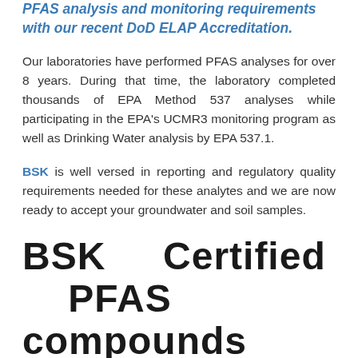PFAS analysis and monitoring requirements with our recent DoD ELAP Accreditation.
Our laboratories have performed PFAS analyses for over 8 years. During that time, the laboratory completed thousands of EPA Method 537 analyses while participating in the EPA's UCMR3 monitoring program as well as Drinking Water analysis by EPA 537.1.
BSK is well versed in reporting and regulatory quality requirements needed for these analytes and we are now ready to accept your groundwater and soil samples.
BSK Certified PFAS compounds